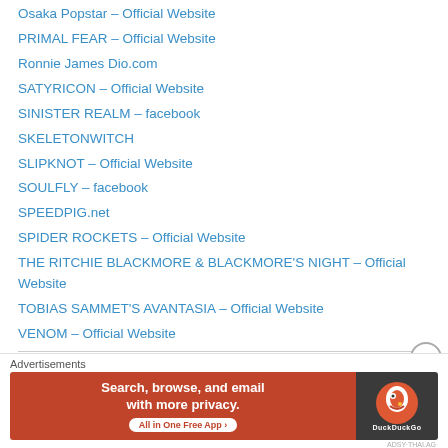Osaka Popstar – Official Website
PRIMAL FEAR – Official Website
Ronnie James Dio.com
SATYRICON – Official Website
SINISTER REALM – facebook
SKELETONWITCH
SLIPKNOT – Official Website
SOULFLY – facebook
SPEEDPIG.net
SPIDER ROCKETS – Official Website
THE RITCHIE BLACKMORE & BLACKMORE'S NIGHT – Official Website
TOBIAS SAMMET'S AVANTASIA – Official Website
VENOM – Official Website
WordPress Links
Advertisements
[Figure (other): DuckDuckGo advertisement banner: Search, browse, and email with more privacy. All in One Free App. DuckDuckGo logo.]